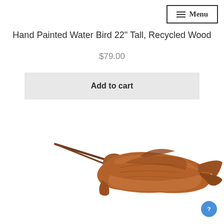Menu
Hand Painted Water Bird 22" Tall, Recycled Wood
$79.00
Add to cart
[Figure (photo): A hand-carved wooden sculpture of a water bird (resembling a swordfish or marlin) made from recycled wood, shown from the side against a white background.]